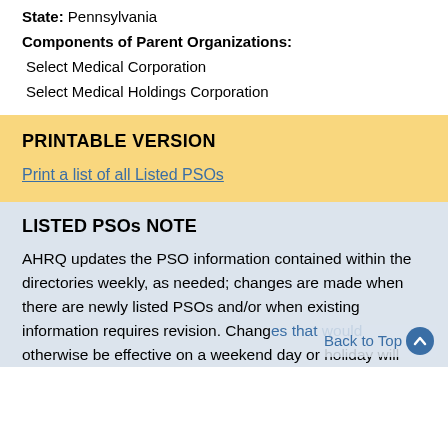State: Pennsylvania
Components of Parent Organizations:
Select Medical Corporation
Select Medical Holdings Corporation
PRINTABLE VERSION
Print a list of all Listed PSOs
LISTED PSOs NOTE
AHRQ updates the PSO information contained within the directories weekly, as needed; changes are made when there are newly listed PSOs and/or when existing information requires revision. Changes that would otherwise be effective on a weekend day or holiday will